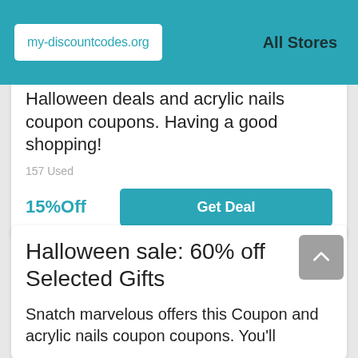my-discountcodes.org   All Stores
Halloween deals and acrylic nails coupon coupons. Having a good shopping!
157 Used
15%Off
Get Deal
Halloween sale: 60% off Selected Gifts
Snatch marvelous offers this Coupon and acrylic nails coupon coupons. You'll